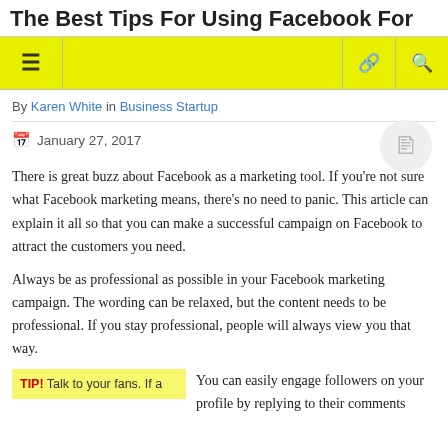The Best Tips For Using Facebook For
≡  [nav bar]  ∞  🔍
By Karen White in Business Startup
January 27, 2017
There is great buzz about Facebook as a marketing tool. If you're not sure what Facebook marketing means, there's no need to panic. This article can explain it all so that you can make a successful campaign on Facebook to attract the customers you need.
Always be as professional as possible in your Facebook marketing campaign. The wording can be relaxed, but the content needs to be professional. If you stay professional, people will always view you that way.
TIP! Talk to your fans. If a  |  You can easily engage followers on your profile by replying to their comments